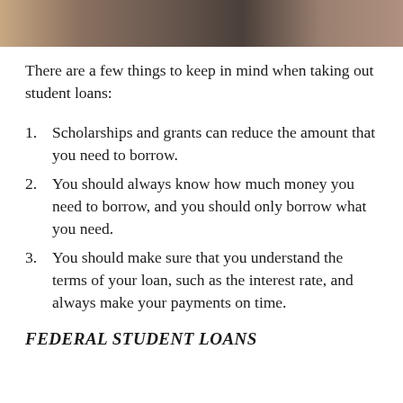[Figure (photo): Photo strip at top of page showing students, partial view]
There are a few things to keep in mind when taking out student loans:
Scholarships and grants can reduce the amount that you need to borrow.
You should always know how much money you need to borrow, and you should only borrow what you need.
You should make sure that you understand the terms of your loan, such as the interest rate, and always make your payments on time.
FEDERAL STUDENT LOANS